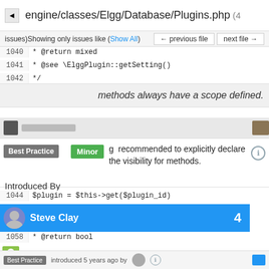engine/classes/Elgg/Database/Plugins.php (4 issues)
Showing only issues like (Show All)
← previous file   next file →
1040   * @return mixed
1041   * @see \ElggPlugin::getSetting()
1042   */
methods always have a scope defined.
1043   function getSetting($name, $plugin_id, $
Best Practice   Minor   g   recommended to explicitly declare the visibility for methods.
Introduced By
1044   $plugin = $this->get($plugin_id)
Steve Clay   4
1058   * @return bool
Evan Winslow * @see \ElggPlugin::unsetSetting()
1060   */
Ismayil Khayredinov function unsetSetting($name, $plugin_id)
Best Practice   introduced 5 years ago by